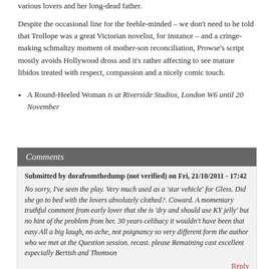various lovers and her long-dead father.
Despite the occasional line for the feeble-minded – we don't need to be told that Trollope was a great Victorian novelist, for instance – and a cringe-making schmaltzy moment of mother-son reconciliation, Prowse's script mostly avoids Hollywood dross and it's rather affecting to see mature libidos treated with respect, compassion and a nicely comic touch.
A Round-Heeled Woman is at Riverside Studios, London W6 until 20 November
Comments
Submitted by dorafromthedump (not verified) on Fri, 21/10/2011 - 17:42
No sorry, I've seen the play. Very much used as a 'star vehicle' for Gless. Did she go to bed with the lovers absolutely clothed?. Coward. A momentary truthful comment from early lover that she is 'dry and should use KY jelly' but no hint of the problem from her. 30 years celibacy it wouldn't have been that easy All a big laugh, no ache, not poignancy so very different form the author who we met at the Question session. recast. please Remaining cast excellent especially Bertish and Thomson
Reply